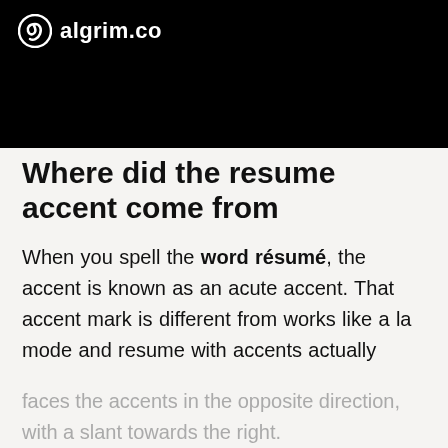algrim.co
Where did the resume accent come from
When you spell the word résumé, the accent is known as an acute accent. That accent mark is different from works like a la mode and resume with accents actually faces the accents in the opposite direction, with a slant towards the right.